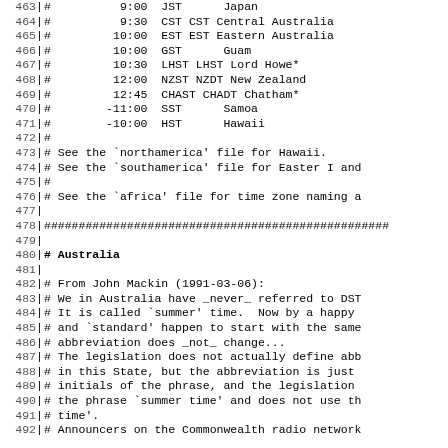Code listing lines 463-492 showing timezone data and Australia section comments
463 #          9:00  JST      Japan
464 #          9:30  CST CST Central Australia
465 #         10:00  EST EST Eastern Australia
466 #         10:00  GST      Guam
467 #         10:30  LHST LHST Lord Howe*
468 #         12:00  NZST NZDT New Zealand
469 #         12:45  CHAST CHADT Chatham*
470 #        -11:00  SST      Samoa
471 #        -10:00  HST      Hawaii
472 #
473 # See the `northamerica' file for Hawaii.
474 # See the `southamerica' file for Easter I and
475 #
476 # See the `africa' file for time zone naming a
477
478 ###################################################
479
480 # Australia
481
482 # From John Mackin (1991-03-06):
483 # We in Australia have _never_ referred to DST
484 # It is called `summer' time.  Now by a happy
485 # and `standard' happen to start with the same
486 # abbreviation does _not_ change...
487 # The legislation does not actually define abb
488 # in this State, but the abbreviation is just
489 # initials of the phrase, and the legislation
490 # the phrase `summer time' and does not use th
491 # time'.
492 # Announcers on the Commonwealth radio network